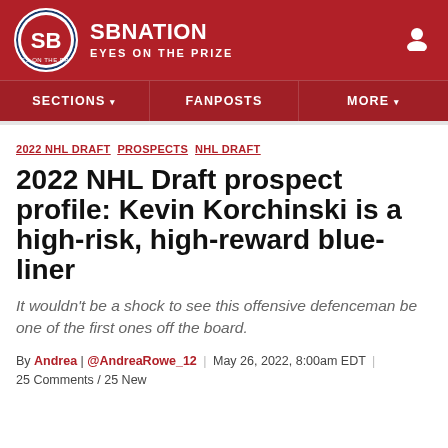SB NATION — EYES ON THE PRIZE
SECTIONS | FANPOSTS | MORE
2022 NHL DRAFT  PROSPECTS  NHL DRAFT
2022 NHL Draft prospect profile: Kevin Korchinski is a high-risk, high-reward blue-liner
It wouldn't be a shock to see this offensive defenceman be one of the first ones off the board.
By Andrea | @AndreaRowe_12 | May 26, 2022, 8:00am EDT | 25 Comments / 25 New